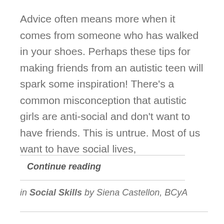Advice often means more when it comes from someone who has walked in your shoes. Perhaps these tips for making friends from an autistic teen will spark some inspiration! There’s a common misconception that autistic girls are anti-social and don’t want to have friends. This is untrue. Most of us want to have social lives,
Continue reading
in Social Skills by Siena Castellon, BCyA